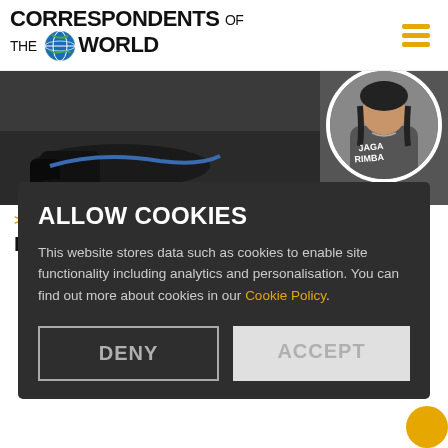CORRESPONDENTS OF THE WORLD
[Figure (photo): Main article photo showing a person on the ground, and a circular portrait photo of a young woman wearing a hoodie with 'JAGA RIMBA' text, on a white circle background]
> Indonesia
I Am Not the Indonesian Greta Thunberg
ALLOW COOKIES

This website stores data such as cookies to enable site functionality including analytics and personalisation. You can find out more about cookies in our Cookie Policy.
DENY   ACCEPT